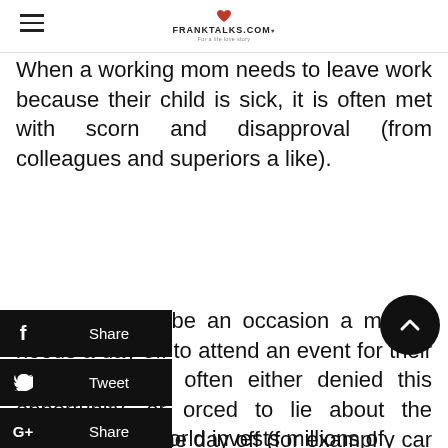FRANKTALKS.COM
When a working mom needs to leave work because their child is sick, it is often met with scorn and disapproval (from colleagues and superiors a like).
re happens to be an occasion a mother needs a day off to attend an event for their child, they are often either denied this opportunity, or orced to lie about the reasons need the day off (for example, my car broke down", "I was robbed" idea).
The business world invests millions of